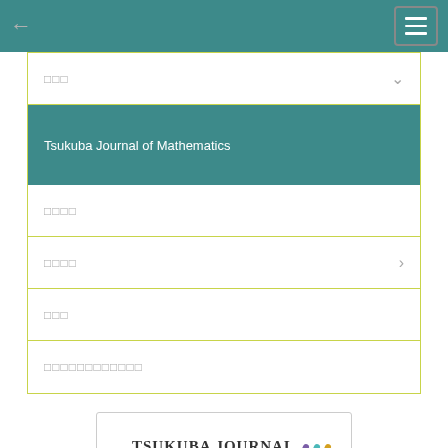[Figure (screenshot): Navigation bar with back arrow and hamburger menu on teal background]
□□□ (with chevron down)
Tsukuba Journal of Mathematics (active/selected item)
□□□□
□□□□ (with chevron right)
□□□
□□□□□□□□□□□□
[Figure (logo): Tsukuba Journal of Mathematics logo with colored diagonal stripes]
[Figure (logo): University of Tsukuba logo with Japanese text 筑波大学]